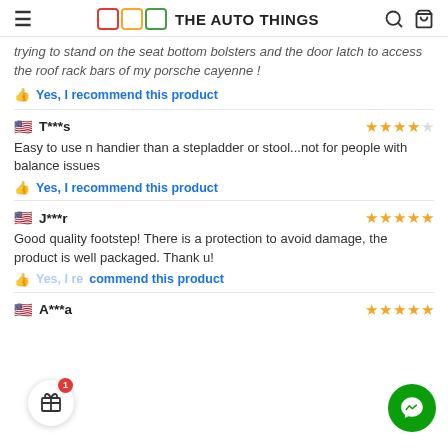THE AUTO THINGS
trying to stand on the seat bottom bolsters and the door latch to access the roof rack bars of my porsche cayenne !
Yes, I recommend this product
T***s — 4 stars
Easy to use n handier than a stepladder or stool...not for people with balance issues
Yes, I recommend this product
J***r — 5 stars
Good quality footstep! There is a protection to avoid damage, the product is well packaged. Thank u!
Yes, I recommend this product
A***a — 4.5 stars